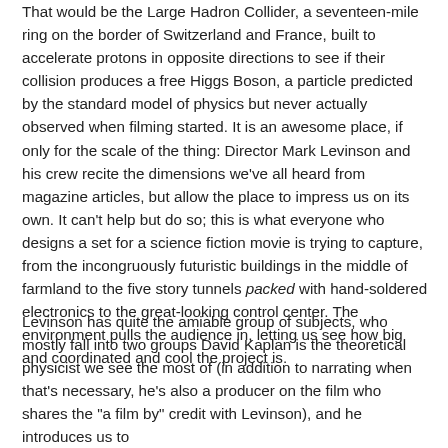That would be the Large Hadron Collider, a seventeen-mile ring on the border of Switzerland and France, built to accelerate protons in opposite directions to see if their collision produces a free Higgs Boson, a particle predicted by the standard model of physics but never actually observed when filming started. It is an awesome place, if only for the scale of the thing: Director Mark Levinson and his crew recite the dimensions we've all heard from magazine articles, but allow the place to impress us on its own. It can't help but do so; this is what everyone who designs a set for a science fiction movie is trying to capture, from the incongruously futuristic buildings in the middle of farmland to the five story tunnels packed with hand-soldered electronics to the great-looking control center. The environment pulls the audience in, letting us see how big and coordinated and cool the project is.
Levinson has quite the amiable group of subjects, who mostly fall into two groups David Kaplan is the theoretical physicist we see the most of (in addition to narrating when that's necessary, he's also a producer on the film who shares the "a film by" credit with Levinson), and he introduces us to together. Some Discover here Great American event